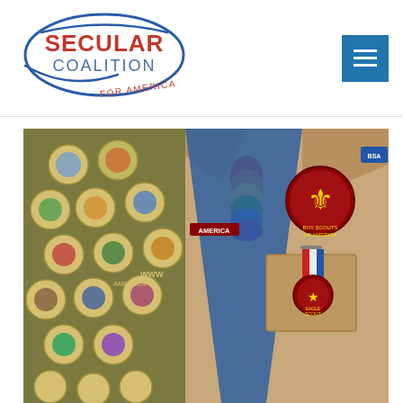[Figure (logo): Secular Coalition for America logo with blue oval outline and text]
[Figure (photo): Close-up of a Boy Scout uniform showing merit badge sash with many badges, a rainbow-colored neckerchief slide, blue neckerchief/tie, Boy Scout of America patch, fleur-de-lis patch, and an Eagle Scout medal on the pocket]